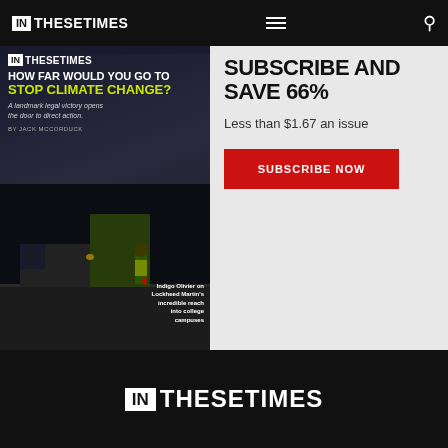IN THESE TIMES (navigation bar with logo, hamburger menu, search)
[Figure (photo): In These Times magazine cover showing 'HOW FAR WOULD YOU GO TO STOP CLIMATE CHANGE?' with a person lying on a road and text about Lockheed Martin's reach into college campuses by Indigo Olivier]
SUBSCRIBE AND SAVE 66%
Less than $1.67 an issue
SUBSCRIBE NOW
IN THESE TIMES